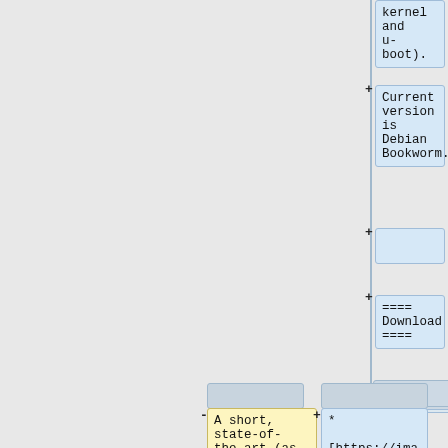kernel and u-boot).
Current version is Debian Bookworm.
==== Download ====
A short, state-of-the-art (as at 2 April 2020) [https://youtu.be/3Ne6G0-hn9g demo on YouTube.]
* [https://images.mobian.org/pinephone/ Images]